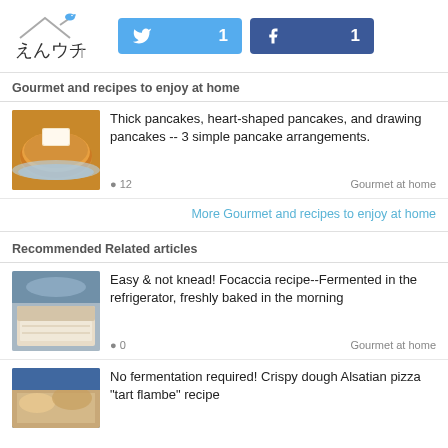えんウチ | Twitter 1 | Facebook 1
Gourmet and recipes to enjoy at home
Thick pancakes, heart-shaped pancakes, and drawing pancakes -- 3 simple pancake arrangements. 💬 12 | Gourmet at home
More Gourmet and recipes to enjoy at home
Recommended Related articles
Easy & not knead! Focaccia recipe--Fermented in the refrigerator, freshly baked in the morning 💬 0 | Gourmet at home
No fermentation required! Crispy dough Alsatian pizza "tart flambe" recipe